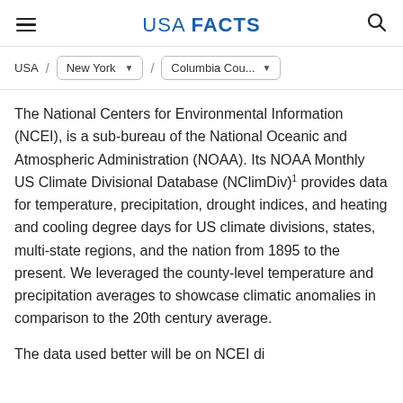USA FACTS
USA / New York / Columbia Cou...
The National Centers for Environmental Information (NCEI), is a sub-bureau of the National Oceanic and Atmospheric Administration (NOAA). Its NOAA Monthly US Climate Divisional Database (NClimDiv)1 provides data for temperature, precipitation, drought indices, and heating and cooling degree days for US climate divisions, states, multi-state regions, and the nation from 1895 to the present. We leveraged the county-level temperature and precipitation averages to showcase climatic anomalies in comparison to the 20th century average.
The data used better will be on NCEI website...